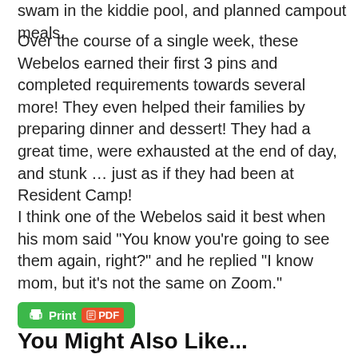swam in the kiddie pool, and planned campout meals.
Over the course of a single week, these Webelos earned their first 3 pins and completed requirements towards several more! They even helped their families by preparing dinner and dessert! They had a great time, were exhausted at the end of day, and stunk … just as if they had been at Resident Camp!
I think one of the Webelos said it best when his mom said “You know you’re going to see them again, right?” and he replied “I know mom, but it’s not the same on Zoom.”
Print PDF
You Might Also Like...